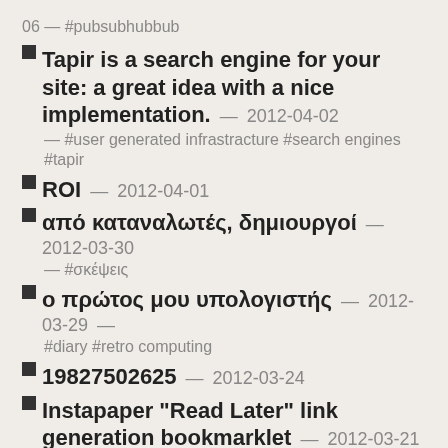06 — #pubsubhubbub
Tapir is a search engine for your site: a great idea with a nice implementation. — 2012-04-02 — #user generated infrastracture #search engines #tapir
ROI — 2012-04-01
από καταναλωτές, δημιουργοί — 2012-03-30 — #σκέψεις
ο πρώτος μου υπολογιστής — 2012-03-29 — #diary #retro computing
19827502625 — 2012-03-24
Instapaper "Read Later" link generation bookmarklet — 2012-03-21 — #newsletter@vrypan.net #howto #instapaper
Οι νόμοι μας δεν είναι γραμμένοι για να διαβάζονται από τους πολίτες — 2012-03-20 —